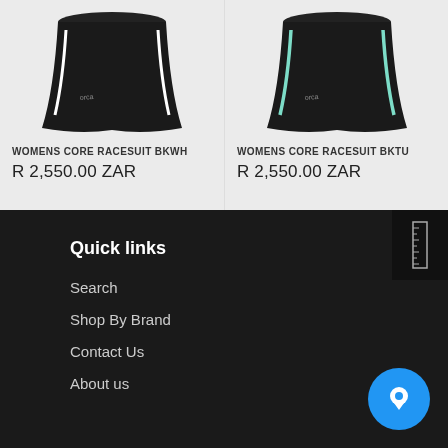[Figure (photo): Black women's cycling/triathlon shorts with white stripe detail, product image on light grey background]
WOMENS CORE RACESUIT BKWH
R 2,550.00 ZAR
[Figure (photo): Black women's cycling/triathlon shorts with teal/mint stripe detail, product image on light grey background]
WOMENS CORE RACESUIT BKTU
R 2,550.00 ZAR
Quick links
Search
Shop By Brand
Contact Us
About us